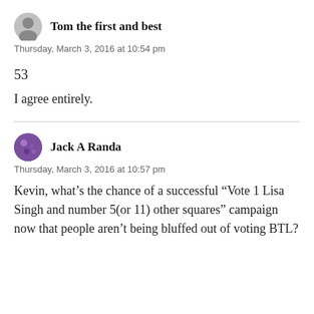Tom the first and best
Thursday, March 3, 2016 at 10:54 pm
53
I agree entirely.
Jack A Randa
Thursday, March 3, 2016 at 10:57 pm
Kevin, what’s the chance of a successful “Vote 1 Lisa Singh and number 5(or 11) other squares” campaign now that people aren’t being bluffed out of voting BTL?